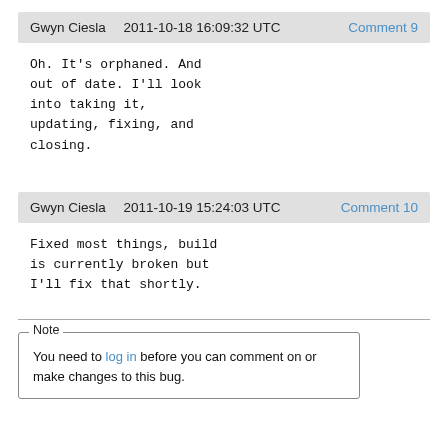Gwyn Ciesla   2011-10-18 16:09:32 UTC   Comment 9
Oh.  It's orphaned.  And
out of date.  I'll look
into taking it,
updating, fixing, and
closing.
Gwyn Ciesla   2011-10-19 15:24:03 UTC   Comment 10
Fixed most things, build
is currently broken but
I'll fix that shortly.
Note
You need to log in before you can comment on or make changes to this bug.